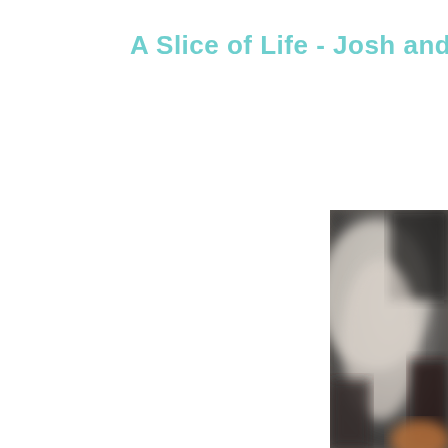A Slice of Life - Josh and ...
[Figure (photo): A blurred black and white photograph showing a person, partially cut off at the right edge of the page. The image is desaturated with soft focus, showing light and dark areas suggesting indoor setting.]